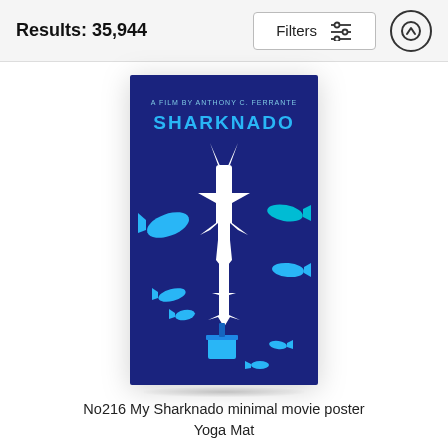Results: 35,944
[Figure (screenshot): Filter button with sliders icon and up arrow button in the header bar]
[Figure (photo): Sharknado minimal movie poster Yoga Mat — dark navy blue background with white silhouette of stacked sharks/tornado figure and cyan blue fish illustrations. Text: A FILM BY ANTHONY C. FERRANTE, SHARKNADO]
No216 My Sharknado minimal movie poster Yoga Mat